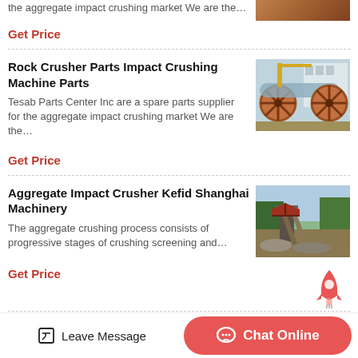the aggregate impact crushing market We are the…
Get Price
Rock Crusher Parts Impact Crushing Machine Parts
Tesab Parts Center Inc are a spare parts supplier for the aggregate impact crushing market We are the…
Get Price
Aggregate Impact Crusher Kefid Shanghai Machinery
The aggregate crushing process consists of progressive stages of crushing screening and…
Get Price
[Figure (photo): Industrial cylindrical drums/rollers with red wheel spokes, stored outdoors]
[Figure (photo): Aggregate impact crusher machinery at an outdoor quarry site]
Leave Message
Chat Online